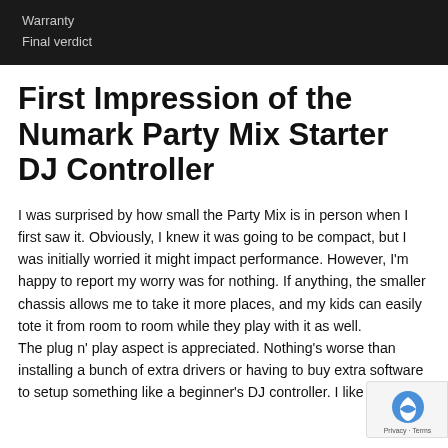Warranty
Final verdict
First Impression of the Numark Party Mix Starter DJ Controller
I was surprised by how small the Party Mix is in person when I first saw it. Obviously, I knew it was going to be compact, but I was initially worried it might impact performance. However, I'm happy to report my worry was for nothing. If anything, the smaller chassis allows me to take it more places, and my kids can easily tote it from room to room while they play with it as well.
The plug n' play aspect is appreciated. Nothing's worse than installing a bunch of extra drivers or having to buy extra software to setup something like a beginner's DJ controller. I like that it